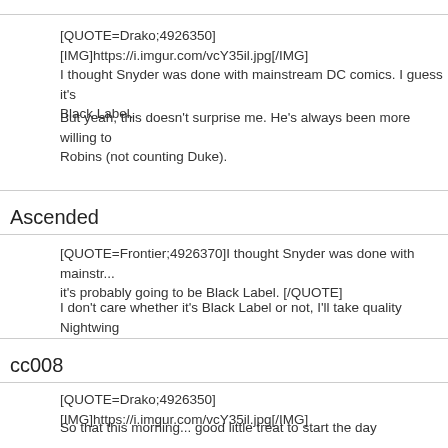[QUOTE=Drako;4926350][IMG]https://i.imgur.com/vcY35il.jpg[/IMG] I thought Snyder was done with mainstream DC comics. I guess it's Black Label.
But yeah, this doesn't surprise me. He's always been more willing to Robins (not counting Duke).
Ascended
[QUOTE=Frontier;4926370]I thought Snyder was done with mainstr... it's probably going to be Black Label. [/QUOTE]
I don't care whether it's Black Label or not, I'll take quality Nightwing
cc008
[QUOTE=Drako;4926350][IMG]https://i.imgur.com/vcY35il.jpg[/IMG]
So that this morning... good little treat to start the day